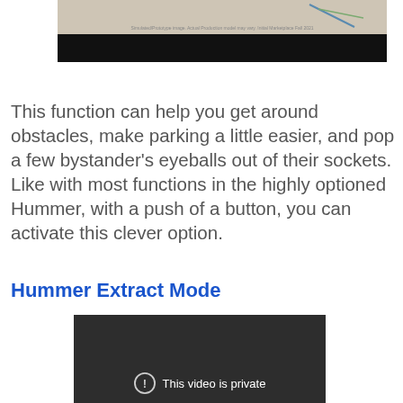[Figure (photo): Partial image of a vehicle (Hummer) with a sandy/beige background and a black bar below. A small caption text is visible.]
Simulated/Prototype image. Actual Production model may vary. Initial Marketplace Fall 2021
This function can help you get around obstacles, make parking a little easier, and pop a few bystander's eyeballs out of their sockets. Like with most functions in the highly optioned Hummer, with a push of a button, you can activate this clever option.
Hummer Extract Mode
[Figure (screenshot): A dark video player showing a private video message: a circle with an exclamation mark icon and the text 'This video is private'.]